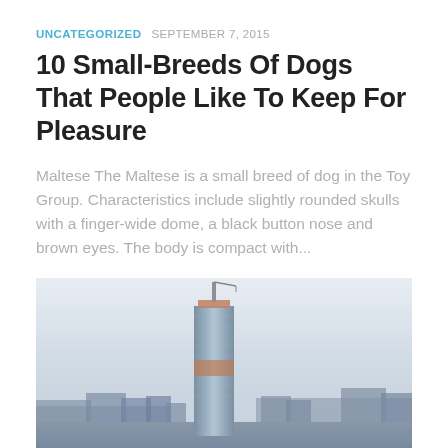UNCATEGORIZED  SEPTEMBER 7, 2015
10 Small-Breeds Of Dogs That People Like To Keep For Pleasure
Maltese The Maltese is a small breed of dog in the Toy Group. Characteristics include slightly rounded skulls with a finger-wide dome, a black button nose and brown eyes. The body is compact with...
[Figure (photo): Aerial photograph of a tall skyscraper (single tower) rising above a city skyline, with hazy sky in the background. The tower has a grid-like glass facade with an orange/red mid-section band and a construction crane at the top.]